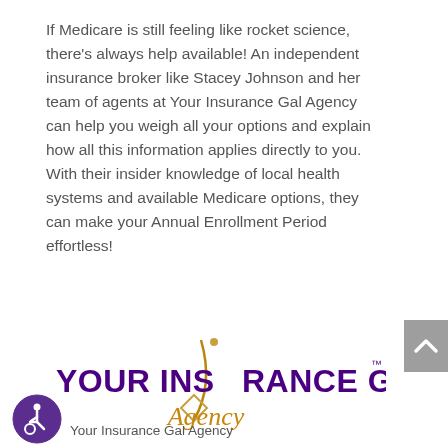If Medicare is still feeling like rocket science, there's always help available! An independent insurance broker like Stacey Johnson and her team of agents at Your Insurance Gal Agency can help you weigh all your options and explain how all this information applies directly to you. With their insider knowledge of local health systems and available Medicare options, they can make your Annual Enrollment Period effortless!
[Figure (logo): Your Insurance Gal Agency logo with purple bold text and gold 'Agency' wordmark, featuring a stylized female figure icon]
Your Insurance Gal Agency